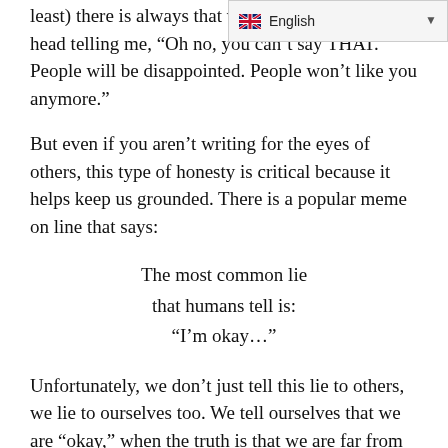least) there is always that voic[e in the back of my] head telling me, “Oh no, you can’t say THAT. People will be disappointed. People won’t like you anymore.”
But even if you aren’t writing for the eyes of others, this type of honesty is critical because it helps keep us grounded. There is a popular meme on line that says:
The most common lie
that humans tell is:
“I’m okay…”
Unfortunately, we don’t just tell this lie to others, we lie to ourselves too. We tell ourselves that we are “okay,” when the truth is that we are far from “okay.” For example, one of the many things that Lewis observed and documented is the trouble he had